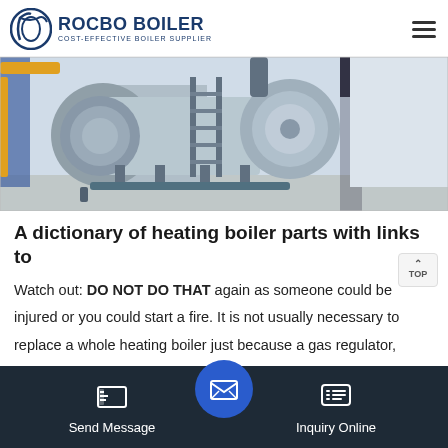ROCBO BOILER | COST-EFFECTIVE BOILER SUPPLIER
[Figure (photo): Industrial heating boilers in a facility — two large cylindrical grey boilers with yellow pipe supports, ladders, and connecting pipework inside a white-walled industrial building.]
A dictionary of heating boiler parts with links to
Watch out: DO NOT DO THAT again as someone could be injured or you could start a fire. It is not usually necessary to replace a whole heating boiler just because a gas regulator, valve, igniter, control ed. Th
Send Message | Inquiry Online